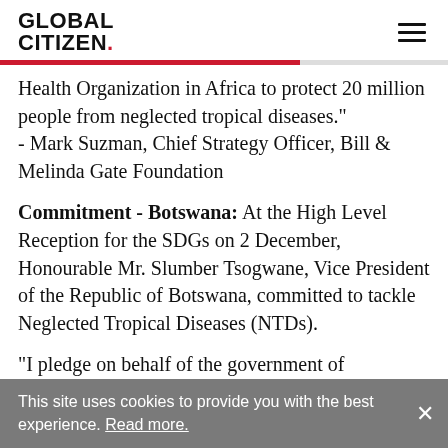GLOBAL CITIZEN.
Health Organization in Africa to protect 20 million people from neglected tropical diseases." - Mark Suzman, Chief Strategy Officer, Bill & Melinda Gate Foundation
Commitment - Botswana: At the High Level Reception for the SDGs on 2 December, Honourable Mr. Slumber Tsogwane, Vice President of the Republic of Botswana, committed to tackle Neglected Tropical Diseases (NTDs).
"I pledge on behalf of the government of
This site uses cookies to provide you with the best experience. Read more.